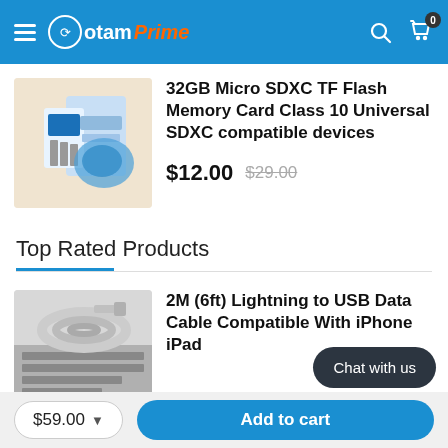otamPrime — navigation header with hamburger menu, logo, search icon, and cart icon with badge 0
[Figure (photo): 32GB Micro SDXC TF Flash Memory Card product photo with blue packaging]
32GB Micro SDXC TF Flash Memory Card Class 10 Universal SDXC compatible devices
$12.00  $29.00
Top Rated Products
[Figure (photo): 2M (6ft) Lightning to USB Data Cable product photo in grayscale]
2M (6ft) Lightning to USB Data Cable Compatible With iPhone iPad
Chat with us
$59.00  Add to cart